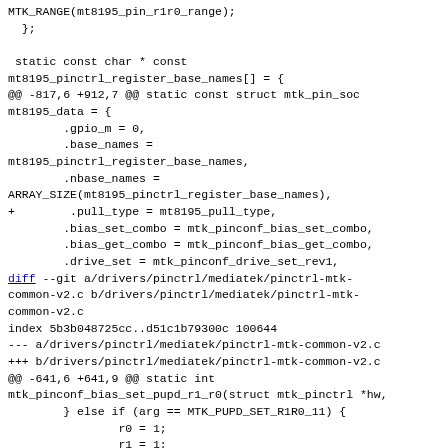MTK_RANGE(mt8195_pin_r1r0_range);
  };

 static const char * const
mt8195_pinctrl_register_base_names[] = {
@@ -817,6 +912,7 @@ static const struct mtk_pin_soc
mt8195_data = {
        .gpio_m = 0,
        .base_names =
mt8195_pinctrl_register_base_names,
        .nbase_names =
ARRAY_SIZE(mt8195_pinctrl_register_base_names),
+        .pull_type = mt8195_pull_type,
        .bias_set_combo = mtk_pinconf_bias_set_combo,
        .bias_get_combo = mtk_pinconf_bias_get_combo,
        .drive_set = mtk_pinconf_drive_set_rev1,
diff --git a/drivers/pinctrl/mediatek/pinctrl-mtk-common-v2.c b/drivers/pinctrl/mediatek/pinctrl-mtk-common-v2.c
index 5b3b048725cc..d51c1b79300c 100644
--- a/drivers/pinctrl/mediatek/pinctrl-mtk-common-v2.c
+++ b/drivers/pinctrl/mediatek/pinctrl-mtk-common-v2.c
@@ -641,6 +641,9 @@ static int
mtk_pinconf_bias_set_pupd_r1_r0(struct mtk_pinctrl *hw,
        } else if (arg == MTK_PUPD_SET_R1R0_11) {
                r0 = 1;
                r1 = 1;
+        } else if (arg == MTK_ENABLE) {
+                r0 = 1;
+                r1 = 0;
        } else {